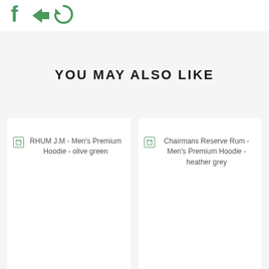[Figure (illustration): Social media icons (Facebook, Twitter/arrow, Snapchat/refresh) in green color at top left]
YOU MAY ALSO LIKE
[Figure (photo): Broken image placeholder for RHUM J.M - Men's Premium Hoodie - olive green]
[Figure (photo): Broken image placeholder for Chairmans Reserve Rum - Men's Premium Hoodie - heather grey]